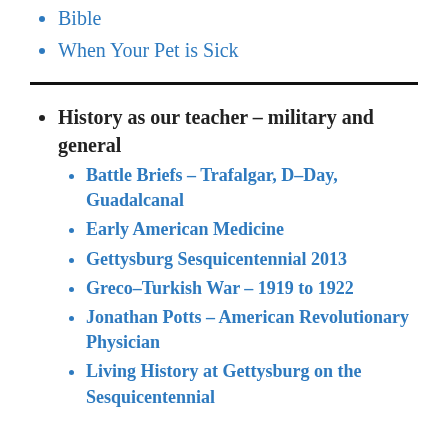Bible
When Your Pet is Sick
History as our teacher - military and general
Battle Briefs - Trafalgar, D-Day, Guadalcanal
Early American Medicine
Gettysburg Sesquicentennial 2013
Greco-Turkish War - 1919 to 1922
Jonathan Potts - American Revolutionary Physician
Living History at Gettysburg on the Sesquicentennial